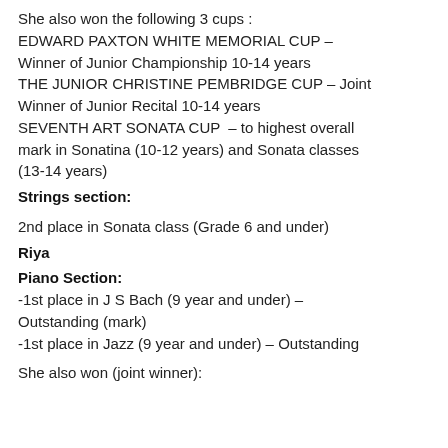She also won the following 3 cups : EDWARD PAXTON WHITE MEMORIAL CUP – Winner of Junior Championship 10-14 years THE JUNIOR CHRISTINE PEMBRIDGE CUP – Joint Winner of Junior Recital 10-14 years SEVENTH ART SONATA CUP – to highest overall mark in Sonatina (10-12 years) and Sonata classes (13-14 years)
Strings section:
2nd place in Sonata class (Grade 6 and under)
Riya
Piano Section:
-1st place in J S Bach (9 year and under) – Outstanding (mark)
-1st place in Jazz (9 year and under) – Outstanding
She also won (joint winner):